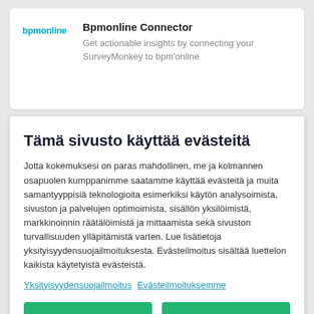[Figure (logo): bpmonline logo text in teal/cyan color]
Bpmonline Connector
Get actionable insights by connecting your SurveyMonkey to bpm'online
Tämä sivusto käyttää evästeitä
Jotta kokemuksesi on paras mahdollinen, me ja kolmannen osapuolen kumppanimme saatamme käyttää evästeitä ja muita samantyyppisiä teknologioita esimerkiksi käytön analysoimista, sivuston ja palvelujen optimoimista, sisällön yksilöimistä, markkinoinnin räätälöimistä ja mittaamista sekä sivuston turvallisuuden ylläpitämistä varten. Lue lisätietoja yksityisyydensuojailmoituksesta. Evästeilmoitus sisältää luettelon kaikista käytetyistä evästeistä.
Yksityisyydensuojailmoitus Evästeilmoituksemme
Evästeasetukset
Hyväksy kaikki evästeet